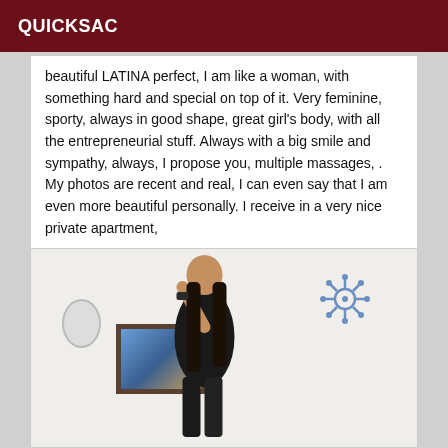QUICKSAC
beautiful LATINA perfect, I am like a woman, with something hard and special on top of it. Very feminine, sporty, always in good shape, great girl's body, with all the entrepreneurial stuff. Always with a big smile and sympathy, always, I propose you, multiple massages, . My photos are recent and real, I can even say that I am even more beautiful personally. I receive in a very nice private apartment,
[Figure (photo): A woman with long dark hair wearing a black outfit standing near a wall with a framed painting and a nautical ship wheel decoration]